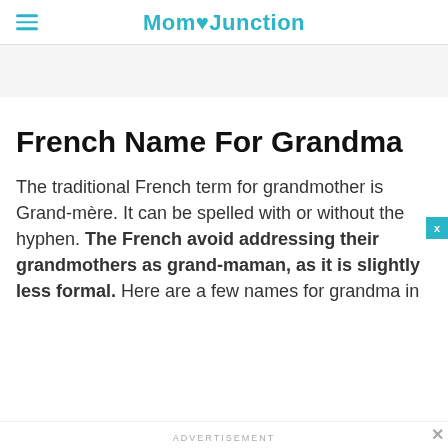Mom Junction
French Name For Grandma
The traditional French term for grandmother is Grand-mère. It can be spelled with or without the hyphen. The French avoid addressing their grandmothers as grand-maman, as it is slightly less formal. Here are a few names for grandma in
ADVERTISEMENT